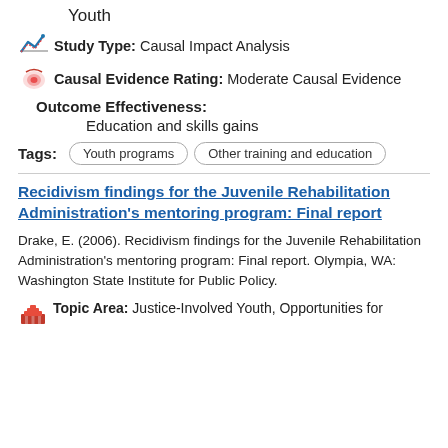Youth
Study Type: Causal Impact Analysis
Causal Evidence Rating: Moderate Causal Evidence
Outcome Effectiveness:
Education and skills gains
Tags: Youth programs | Other training and education
Recidivism findings for the Juvenile Rehabilitation Administration's mentoring program: Final report
Drake, E. (2006). Recidivism findings for the Juvenile Rehabilitation Administration's mentoring program: Final report. Olympia, WA: Washington State Institute for Public Policy.
Topic Area: Justice-Involved Youth, Opportunities for